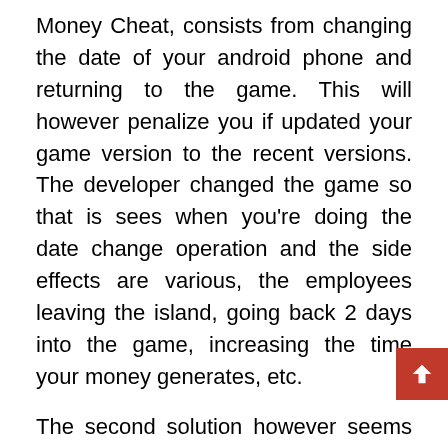Money Cheat, consists from changing the date of your android phone and returning to the game. This will however penalize you if updated your game version to the recent versions. The developer changed the game so that is sees when you're doing the date change operation and the side effects are various, the employees leaving the island, going back 2 days into the game, increasing the time your money generates, etc.
The second solution however seems to work better but there's two conditions:
1. your android phone must be “rooted”2. you need to pay for the app
We don’t suggest to do any of this, rooting your phone might impact negatively other applications and paying for an app to cheat a free game does not make any sense to us. The best